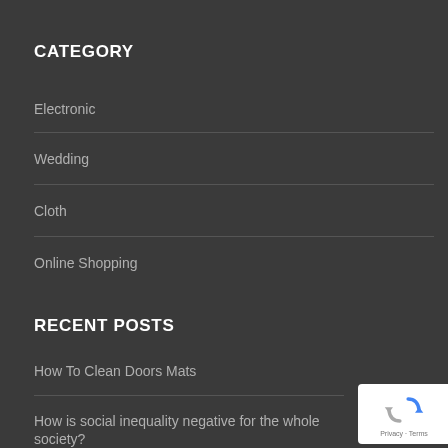CATEGORY
Electronic
Wedding
Cloth
Online Shopping
RECENT POSTS
How To Clean Doors Mats
How is social inequality negative for the whole society?